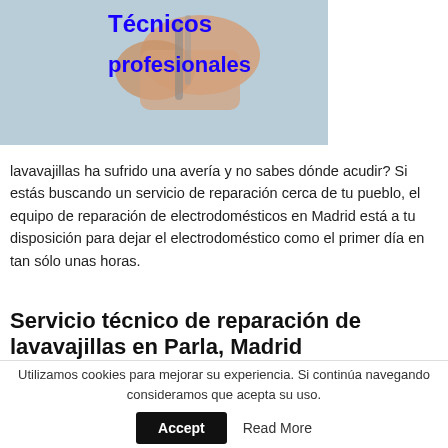[Figure (photo): Photo of hands with blue bold text overlay reading 'profesionales' (partial title visible at top)]
lavavajillas ha sufrido una avería y no sabes dónde acudir? Si estás buscando un servicio de reparación cerca de tu pueblo, el equipo de reparación de electrodomésticos en Madrid está a tu disposición para dejar el electrodoméstico como el primer día en tan sólo unas horas.
Servicio técnico de reparación de lavavajillas en Parla, Madrid
Utilizamos cookies para mejorar su experiencia. Si continúa navegando consideramos que acepta su uso.